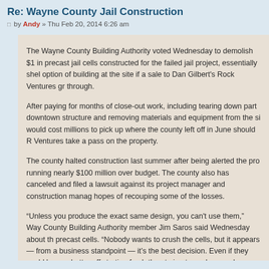Re: Wayne County Jail Construction
by Andy » Thu Feb 20, 2014 6:26 am
The Wayne County Building Authority voted Wednesday to demolish $1 in precast jail cells constructed for the failed jail project, essentially shelving option of building at the site if a sale to Dan Gilbert's Rock Ventures gro through.
After paying for months of close-out work, including tearing down part o downtown structure and removing materials and equipment from the sit would cost millions to pick up where the county left off in June should R Ventures take a pass on the property.
The county halted construction last summer after being alerted the proj running nearly $100 million over budget. The county also has canceled and filed a lawsuit against its project manager and construction manage hopes of recouping some of the losses.
“Unless you produce the exact same design, you can't use them,” Way County Building Authority member Jim Saros said Wednesday about th precast cells. “Nobody wants to crush the cells, but it appears — from a business standpoint — it’s the best decision. Even if they could be use better off starting fresh than trying to work around already constructed c